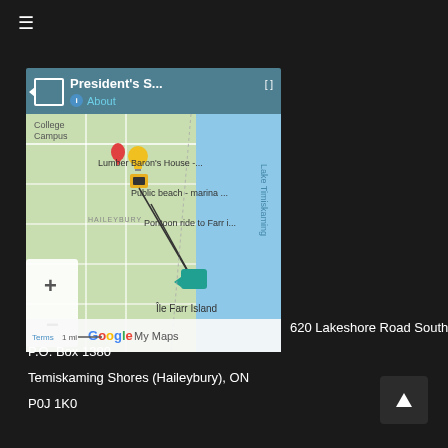[Figure (screenshot): Google My Maps screenshot showing President's S... map with markers for College Campus, Lumber Baron's House, Public beach marina, Pontoon ride to Farr i..., and Île Farr Island on Lake Timiskaming. Includes zoom controls and Google My Maps branding.]
620 Lakeshore Road South, P.O. Box 1380
Temiskaming Shores (Haileybury), ON
P0J 1K0